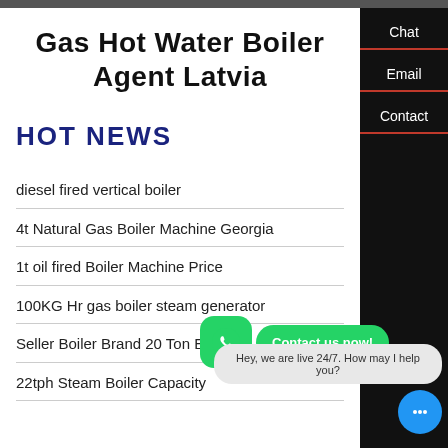Gas Hot Water Boiler Agent Latvia
HOT NEWS
diesel fired vertical boiler
4t Natural Gas Boiler Machine Georgia
1t oil fired Boiler Machine Price
100KG Hr gas boiler steam generator
Seller Boiler Brand 20 Ton Estonia
22tph Steam Boiler Capacity